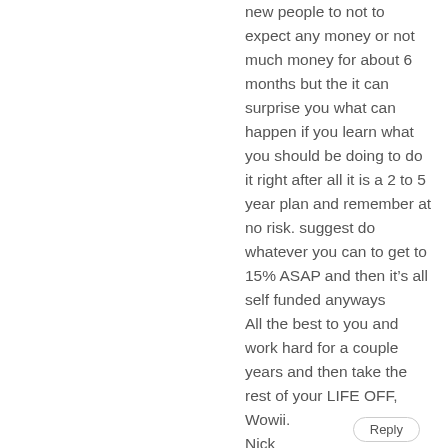new people to not to expect any money or not much money for about 6 months but the it can surprise you what can happen if you learn what you should be doing to do it right after all it is a 2 to 5 year plan and remember at no risk. suggest do whatever you can to get to 15% ASAP and then it's all self funded anyways All the best to you and work hard for a couple years and then take the rest of your LIFE OFF, Wowii. Nick